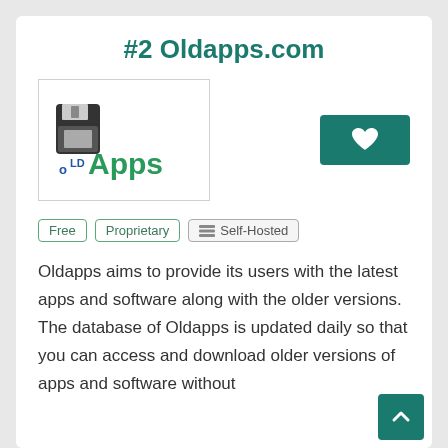#2 Oldapps.com
[Figure (logo): OldApps logo with a floppy disk graphic and the text 'oLDApps' in blue and green]
Free
Proprietary
Self-Hosted
Oldapps aims to provide its users with the latest apps and software along with the older versions. The database of Oldapps is updated daily so that you can access and download older versions of apps and software without